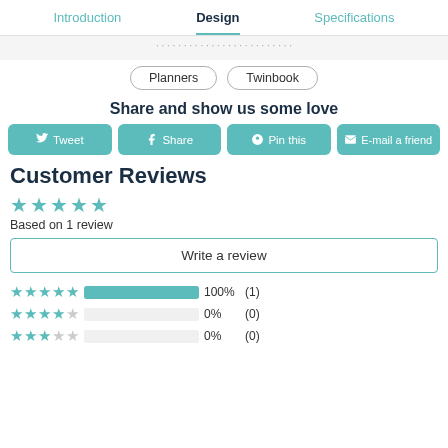Introduction | Design | Specifications
Planners
Twinbook
Share and show us some love
Tweet | Share | Pin this | E-mail a friend
Customer Reviews
★★★★★ Based on 1 review
Write a review
[Figure (bar-chart): Rating distribution]